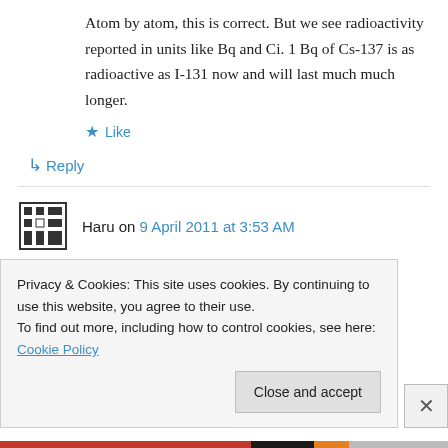Atom by atom, this is correct. But we see radioactivity reported in units like Bq and Ci. 1 Bq of Cs-137 is as radioactive as I-131 now and will last much much longer.
★ Like
↳ Reply
Haru on 9 April 2011 at 3:53 AM
I meant 1 Bq of Cs-137 is as radioactive as 1 Bq of I-131 now and will last longer (by about 1400...
Privacy & Cookies: This site uses cookies. By continuing to use this website, you agree to their use.
To find out more, including how to control cookies, see here: Cookie Policy
Close and accept